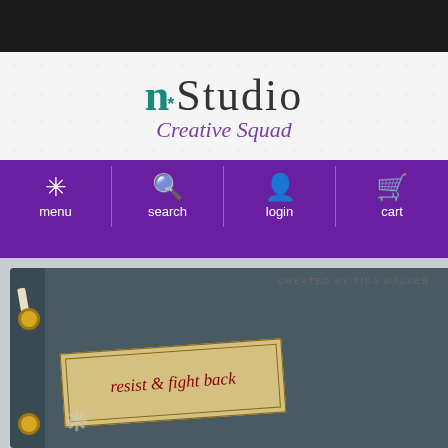[Figure (screenshot): n*Studio Creative Squad website header with logo and navigation bar]
n*Studio Creative Squad
menu  search  login  cart
[Figure (photo): Close-up photo of a dark teal leather journal with gold grommets, a beige strap, and a fabric tag reading 'resist & fight back'. Credit: CREATED BY TINA WALKER]